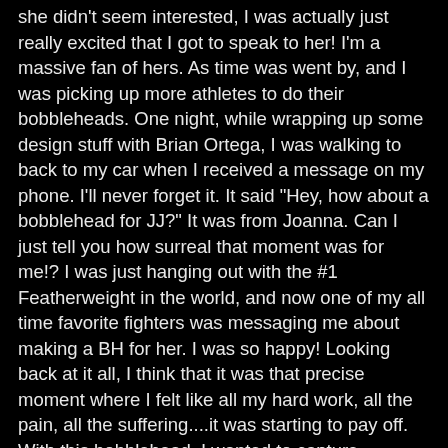she didn't seem interested, I was actually just really excited that I got to speak to her!  I'm a massive fan of hers. As time was went by, and I was picking up more athletes to do their bobbleheads. One night, while wrapping up some design stuff with  Brian Ortega, I was walking to back to my car when I received  a message on  my phone. I'll never forget it. It said "Hey, how about a bobblehead for JJ?" It was from Joanna. Can I just tell you how surreal that moment was for me!? I was just hanging out with the #1 Featherweight in the world, and now one of my all time favorite fighters was messaging me about making a BH for her. I was so happy! Looking back at it all, I think that it was that precise moment  where I felt like all my hard work, all the pain, all the suffering....it was starting to pay off. With this bobblehead, I wanted to capture Joanna's signature #1 pose and try to portray her with extreme confidence. Her confidence is something that I think that we all love about her. It's infectious, really. This piece took about 5 months to make. I love how her fingers came out (each nail is painted). Her hair came out great too. I hope that you enjoy this MMA Bobblehead of Joanna Jedrzejczyk as much as I do